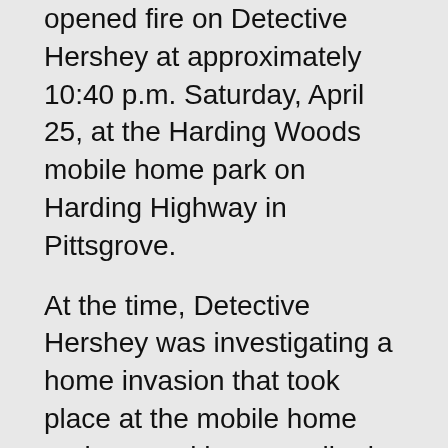opened fire on Detective Hershey at approximately 10:40 p.m. Saturday, April 25, at the Harding Woods mobile home park on Harding Highway in Pittsgrove.
At the time, Detective Hershey was investigating a home invasion that took place at the mobile home park several hours earlier in which a woman was beaten and robbed.
According to police, the three defendants were part of a group – linked to the assailants in the home invasion – who arrived in a caravan of five vehicles.
Several members of the caravan exited their vehicles and confronted Detective Hershey,